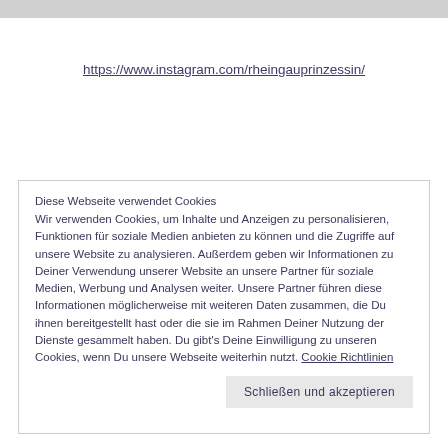https://www.instagram.com/rheingauprinzessin/
Diese Webseite verwendet Cookies
Wir verwenden Cookies, um Inhalte und Anzeigen zu personalisieren, Funktionen für soziale Medien anbieten zu können und die Zugriffe auf unsere Website zu analysieren. Außerdem geben wir Informationen zu Deiner Verwendung unserer Website an unsere Partner für soziale Medien, Werbung und Analysen weiter. Unsere Partner führen diese Informationen möglicherweise mit weiteren Daten zusammen, die Du ihnen bereitgestellt hast oder die sie im Rahmen Deiner Nutzung der Dienste gesammelt haben. Du gibt's Deine Einwilligung zu unseren Cookies, wenn Du unsere Webseite weiterhin nutzt. Cookie Richtlinien
Schließen und akzeptieren